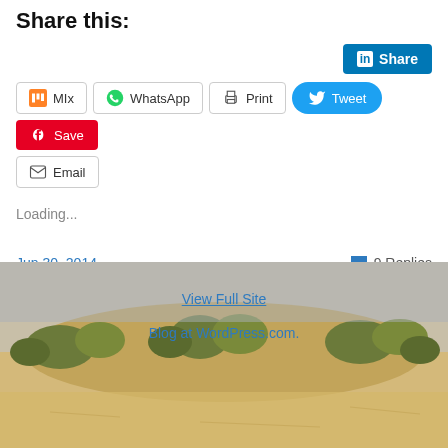Share this:
Share (LinkedIn)
MIx | WhatsApp | Print | Tweet | Save | Email
Loading...
Jun 30, 2014
9 Replies
[Figure (photo): Beach/sand dunes with grass, sandy landscape, overcast sky — footer background image]
View Full Site
Blog at WordPress.com.